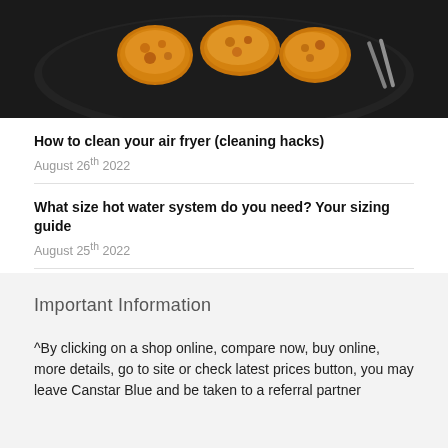[Figure (photo): Close-up photo of crispy golden fried chicken pieces in a dark air fryer basket]
How to clean your air fryer (cleaning hacks)
August 26th 2022
What size hot water system do you need? Your sizing guide
August 25th 2022
How to use an air fryer (beginners & seasoned cooks edition)
Important Information
^By clicking on a shop online, compare now, buy online, more details, go to site or check latest prices button, you may leave Canstar Blue and be taken to a referral partner